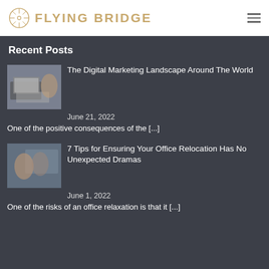[Figure (logo): Flying Bridge logo with compass rose icon and text 'FLYING BRIDGE' in gold/tan color]
Recent Posts
[Figure (photo): Person writing on paper next to a laptop]
The Digital Marketing Landscape Around The World
June 21, 2022
One of the positive consequences of the [...]
[Figure (photo): Two people having a discussion in an office setting]
7 Tips for Ensuring Your Office Relocation Has No Unexpected Dramas
June 1, 2022
One of the risks of an office relaxation is that it [...]